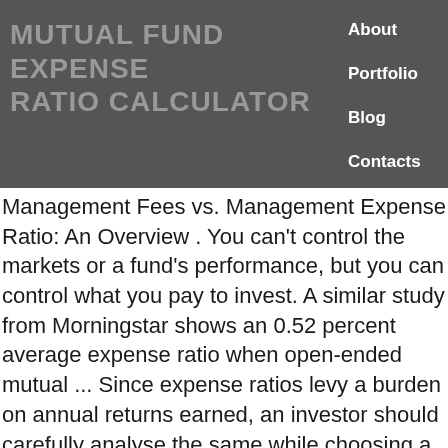MUTUAL FUND EXPENSE RATIO CALCULATOR
About
Portfolio
Blog
Contacts
Management Fees vs. Management Expense Ratio: An Overview . You can't control the markets or a fund's performance, but you can control what you pay to invest. A similar study from Morningstar shows an 0.52 percent average expense ratio when open-ended mutual ... Since expense ratios levy a burden on annual returns earned, an investor should carefully analyse the same while choosing a mutual fund scheme to invest. Typically, MERs in Canada are below 3%. SEBI has set guidelines for controlling the ceiling of expense ratios. These costs are calculated by dividing the total expenditure by the value of assets in question. Total Expense Ratio (TER) or Expense Ratio